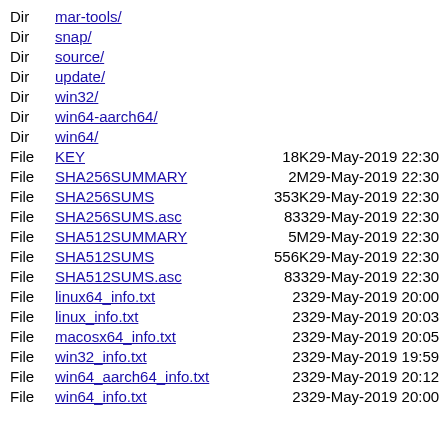Dir  mar-tools/
Dir  snap/
Dir  source/
Dir  update/
Dir  win32/
Dir  win64-aarch64/
Dir  win64/
File  KEY  18K  29-May-2019 22:30
File  SHA256SUMMARY  2M  29-May-2019 22:30
File  SHA256SUMS  353K  29-May-2019 22:30
File  SHA256SUMS.asc  833  29-May-2019 22:30
File  SHA512SUMMARY  5M  29-May-2019 22:30
File  SHA512SUMS  556K  29-May-2019 22:30
File  SHA512SUMS.asc  833  29-May-2019 22:30
File  linux64_info.txt  23  29-May-2019 20:00
File  linux_info.txt  23  29-May-2019 20:03
File  macosx64_info.txt  23  29-May-2019 20:05
File  win32_info.txt  23  29-May-2019 19:59
File  win64_aarch64_info.txt  23  29-May-2019 20:12
File  win64_info.txt  23  29-May-2019 20:00